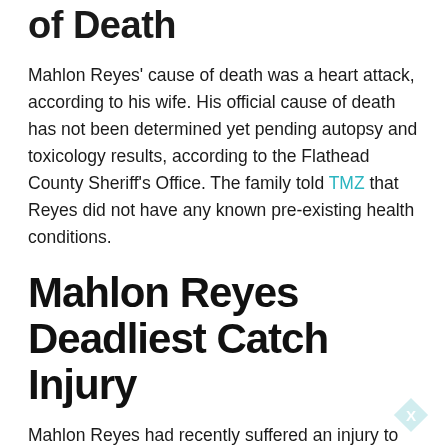of Death
Mahlon Reyes' cause of death was a heart attack, according to his wife. His official cause of death has not been determined yet pending autopsy and toxicology results, according to the Flathead County Sheriff's Office. The family told TMZ that Reyes did not have any known pre-existing health conditions.
Mahlon Reyes Deadliest Catch Injury
Mahlon Reyes had recently suffered an injury to his Achilles tendon and was working to recover in order to make it to Alaska for another crab season, according to Fox News.